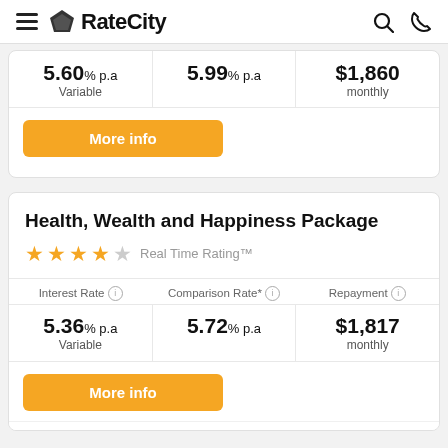RateCity
| Interest Rate | Comparison Rate* | Repayment |
| --- | --- | --- |
| 5.60% p.a Variable | 5.99% p.a | $1,860 monthly |
More info
Health, Wealth and Happiness Package
★★★★☆ Real Time Rating™
| Interest Rate ⓘ | Comparison Rate* ⓘ | Repayment ⓘ |
| --- | --- | --- |
| 5.36% p.a Variable | 5.72% p.a | $1,817 monthly |
More info